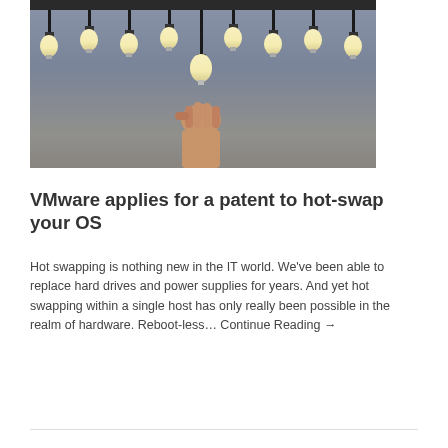[Figure (photo): A hand reaching up to screw in a lightbulb, with a row of hanging Edison/CFL bulbs across the top against a grey-blue background.]
VMware applies for a patent to hot-swap your OS
Hot swapping is nothing new in the IT world. We've been able to replace hard drives and power supplies for years. And yet hot swapping within a single host has only really been possible in the realm of hardware. Reboot-less… Continue Reading →